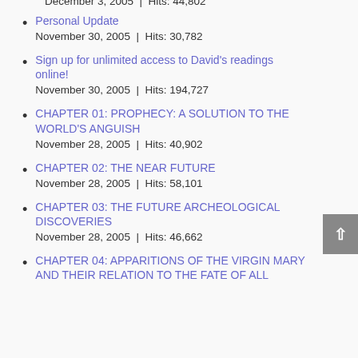December 3, 2005 | Hits: 44,802
Personal Update
November 30, 2005 | Hits: 30,782
Sign up for unlimited access to David's readings online!
November 30, 2005 | Hits: 194,727
CHAPTER 01: PROPHECY: A SOLUTION TO THE WORLD'S ANGUISH
November 28, 2005 | Hits: 40,902
CHAPTER 02: THE NEAR FUTURE
November 28, 2005 | Hits: 58,101
CHAPTER 03: THE FUTURE ARCHEOLOGICAL DISCOVERIES
November 28, 2005 | Hits: 46,662
CHAPTER 04: APPARITIONS OF THE VIRGIN MARY AND THEIR RELATION TO THE FATE OF ALL